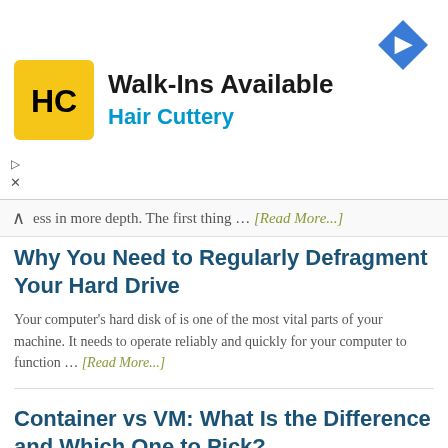[Figure (screenshot): Advertisement banner for Hair Cuttery with yellow HC logo, 'Walk-Ins Available' headline, blue diamond navigation icon]
…ess in more depth. The first thing … [Read More...]
Why You Need to Regularly Defragment Your Hard Drive
Your computer's hard disk of is one of the most vital parts of your machine. It needs to operate reliably and quickly for your computer to function … [Read More...]
Container vs VM: What Is the Difference and Which One to Pick?
VMs and containers are two implementations of